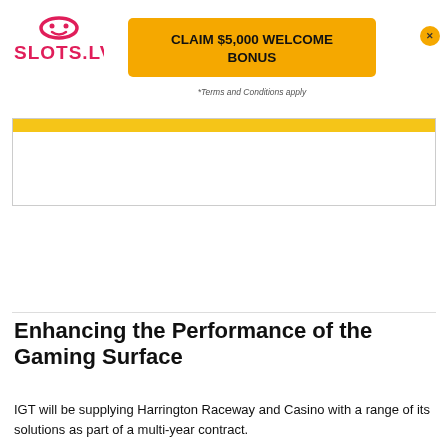SLOTS.LV
[Figure (screenshot): SLOTS.LV logo in red/pink bold text with a stylized icon above]
[Figure (infographic): Yellow button reading CLAIM $5,000 WELCOME BONUS with *Terms and Conditions apply below]
[Figure (other): Advertisement box with yellow strip at top, mostly empty white space]
Enhancing the Performance of the Gaming Surface
IGT will be supplying Harrington Raceway and Casino with a range of its solutions as part of a multi-year contract.